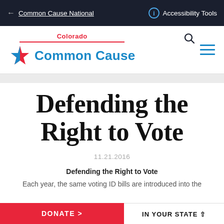Common Cause National
Accessibility Tools
[Figure (logo): Common Cause Colorado logo with red star and blue text, with red Colorado state label above]
Defending the Right to Vote
11.21.2016
Defending the Right to Vote
Each year, the same voting ID bills are introduced into the
DONATE >   IN YOUR STATE ^